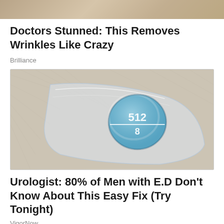[Figure (photo): Close-up photo of skin texture, partial crop at top of page]
Doctors Stunned: This Removes Wrinkles Like Crazy
Brilliance
[Figure (photo): Close-up photo of a blue pill in a clear plastic blister pack resting on a fuzzy white surface. The pill has '512' and '8' engraved on it with a score line.]
Urologist: 80% of Men with E.D Don't Know About This Easy Fix (Try Tonight)
VigorNow